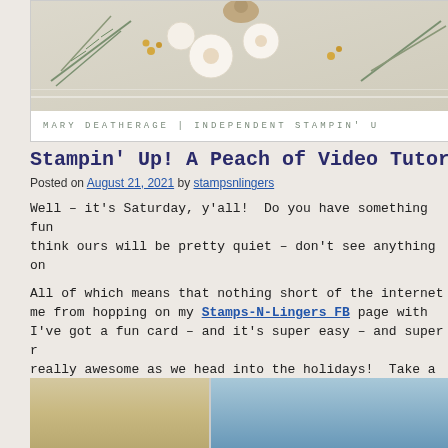[Figure (illustration): Blog header banner with floral decoration (white flowers, pine branches, gold berries) and text 'MARY DEATHERAGE | INDEPENDENT STAMPIN' U']
Stampin' Up! A Peach of Video Tutorial Sneak Pe
Posted on August 21, 2021 by stampsnlingers
Well – it's Saturday, y'all!  Do you have something fun think ours will be pretty quiet – don't see anything on
All of which means that nothing short of the internet me from hopping on my Stamps-N-Lingers FB page with I've got a fun card – and it's super easy – and super r really awesome as we head into the holidays!  Take a l
[Figure (photo): Bottom strip showing two card images partially visible]